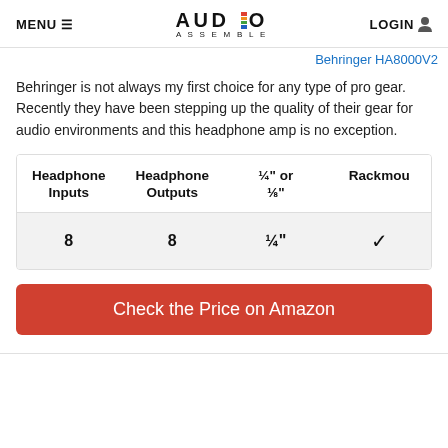MENU  AUDIO ASSEMBLE  LOGIN
Behringer HA8000V2
Behringer is not always my first choice for any type of pro gear. Recently they have been stepping up the quality of their gear for audio environments and this headphone amp is no exception.
| Headphone Inputs | Headphone Outputs | ¼" or ⅛" | Rackmountable |
| --- | --- | --- | --- |
| 8 | 8 | ¼" | ✓ |
Check the Price on Amazon